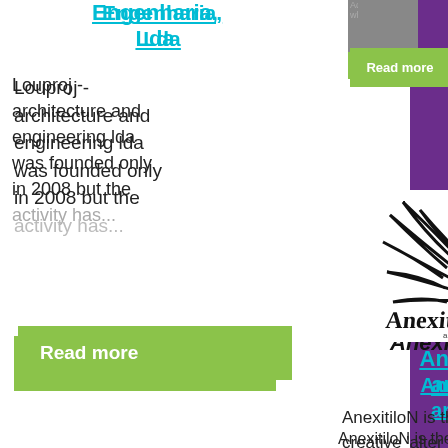Engenharia, Lda
Louproj - architecture and engineering lda was founded only in 2008 but the activity has...
Read more
bringing the best...
Read more
Advertising while...
Read more
[Figure (logo): AnexitiloN art work logo - black silhouette of a head with feathers and stylized text 'AnexitiloN art work']
AnexitiloN art work
AnexitiloN is the creative 'alter ego' of the artist-designer Savva K. Coureas, who belongs to the...